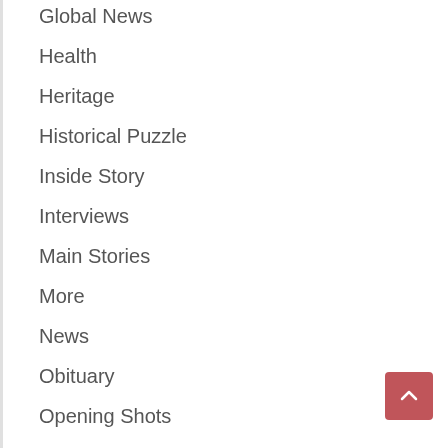Global News
Health
Heritage
Historical Puzzle
Inside Story
Interviews
Main Stories
More
News
Obituary
Opening Shots
Politics
Popular
Profiles
Reactions
Recommended
Retrospect
Serendipity
Special Report